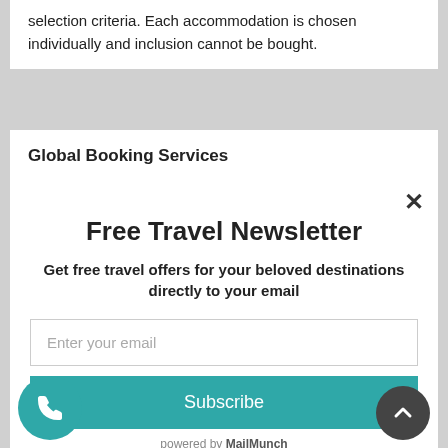selection criteria. Each accommodation is chosen individually and inclusion cannot be bought.
Global Booking Services
Ano Mera Mykonos , Greece
Free Travel Newsletter
Get free travel offers for your beloved destinations directly to your email
Enter your email
Subscribe
powered by MailMunch